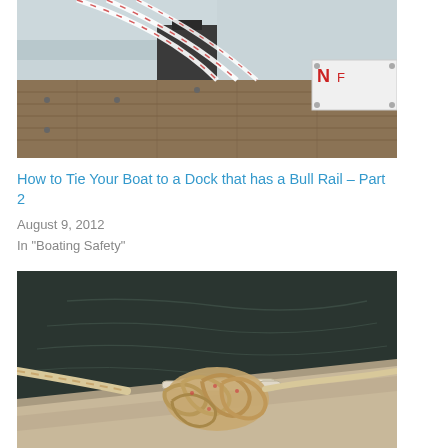[Figure (photo): Photo of boat ropes/lines on a wooden dock with a sign partially visible in the upper right corner showing red text]
How to Tie Your Boat to a Dock that has a Bull Rail – Part 2
August 9, 2012
In "Boating Safety"
[Figure (photo): Close-up photo of a rope knot tied around a cleat on a boat dock, with water visible in the background]